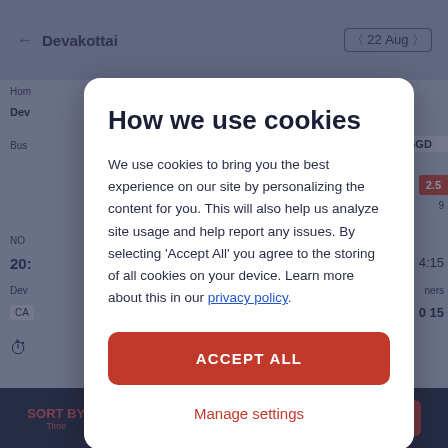[Figure (screenshot): Background mobile app screen showing bus booking interface for Devakottai route, dated 22 Aug, with dark navy bottom navigation bar showing Sort By Time, Cancellable, Evening 18:00-24:00, Seater, and Sort & Filter options.]
How we use cookies
We use cookies to bring you the best experience on our site by personalizing the content for you. This will also help us analyze site usage and help report any issues. By selecting 'Accept All' you agree to the storing of all cookies on your device. Learn more about this in our privacy policy.
ACCEPT ALL
Manage settings